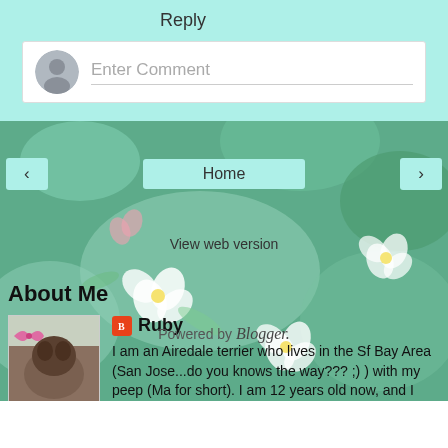Reply
Enter Comment
Home
View web version
About Me
Ruby
I am an Airedale terrier who lives in the Sf Bay Area (San Jose...do you knows the way??? ;) ) with my peep (Ma for short). I am 12 years old now, and I likes cheesy burgers and margaritas.
View my complete profile
Powered by Blogger.